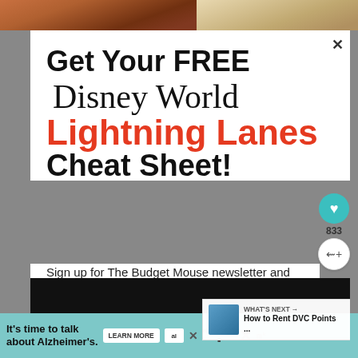[Figure (screenshot): Top background photo strip showing partial image]
Get Your FREE Disney World Lightning Lanes Cheat Sheet!
Sign up for The Budget Mouse newsletter and get your free guide!
Email address
WHAT'S NEXT → How to Rent DVC Points ...
[Figure (photo): Dark video/content area]
It's time to talk about Alzheimer's. LEARN MORE